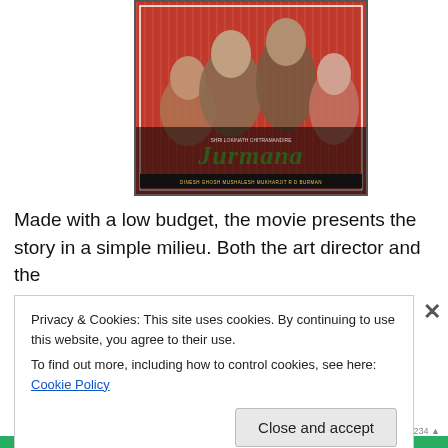[Figure (photo): Movie poster for 'Jurmana' (Bollywood film) featuring four actors against a red striped background, with the film title in decorative text and credits at the bottom.]
Made with a low budget, the movie presents the story in a simple milieu. Both the art director and the
Privacy & Cookies: This site uses cookies. By continuing to use this website, you agree to their use.
To find out more, including how to control cookies, see here: Cookie Policy
Close and accept